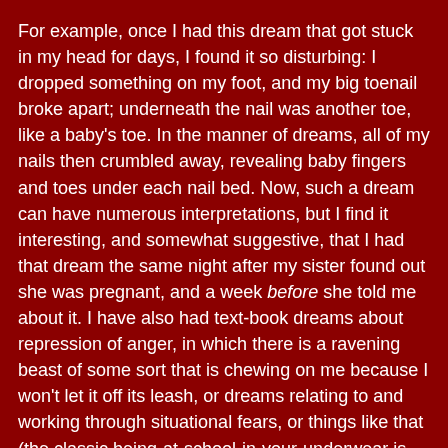For example, once I had this dream that got stuck in my head for days, I found it so disturbing: I dropped something on my foot, and my big toenail broke apart; underneath the nail was another toe, like a baby's toe. In the manner of dreams, all of my nails then crumbled away, revealing baby fingers and toes under each nail bed. Now, such a dream can have numerous interpretations, but I find it interesting, and somewhat suggestive, that I had that dream the same night after my sister found out she was pregnant, and a week before she told me about it. I have also had text-book dreams about repression of anger, in which there is a ravening beast of some sort that is chewing on me because I won't let it off its leash, or dreams relating to and working through situational fears, or things like that (the classic being-at-school-in-your-underwear is an old favorite).
But again, I don't really think there is anything the dreams can tell you that you can't come to understand through your own meditations, and that dreams are very specific to one's